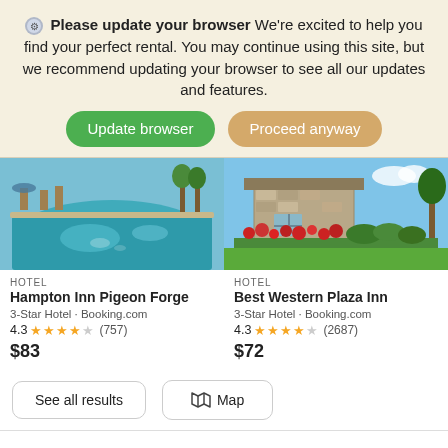Please update your browser We're excited to help you find your perfect rental. You may continue using this site, but we recommend updating your browser to see all our updates and features.
Update browser | Proceed anyway
[Figure (photo): Hotel pool photo for Hampton Inn Pigeon Forge]
HOTEL
Hampton Inn Pigeon Forge
3-Star Hotel · Booking.com
4.3 ★★★★☆ (757)
$83
[Figure (photo): Hotel exterior/garden photo for Best Western Plaza Inn]
HOTEL
Best Western Plaza Inn
3-Star Hotel · Booking.com
4.3 ★★★★☆ (2687)
$72
See all results
🗺 Map